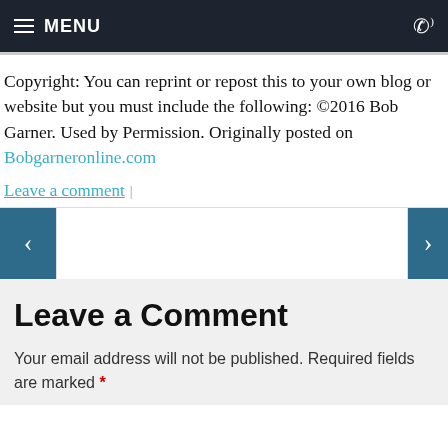MENU
Copyright: You can reprint or repost this to your own blog or website but you must include the following: ©2016 Bob Garner. Used by Permission. Originally posted on Bobgarneronline.com
Leave a comment
Leave a Comment
Your email address will not be published. Required fields are marked *